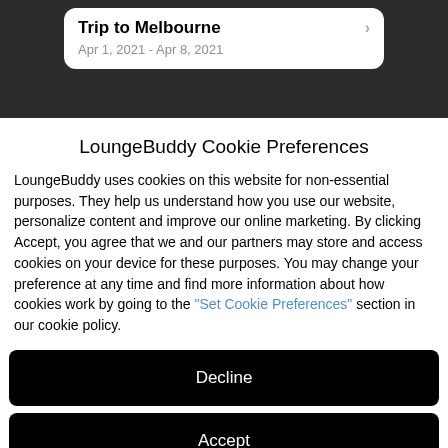[Figure (screenshot): Mobile app screenshot showing a trip card titled 'Trip to Melbourne' with dates Apr 1, 2021 - Apr 8, 2021 on a dark background]
LoungeBuddy Cookie Preferences
LoungeBuddy uses cookies on this website for non-essential purposes. They help us understand how you use our website, personalize content and improve our online marketing. By clicking Accept, you agree that we and our partners may store and access cookies on your device for these purposes. You may change your preference at any time and find more information about how cookies work by going to the "Set Cookie Preferences" section in our cookie policy.
Decline
Accept
Options